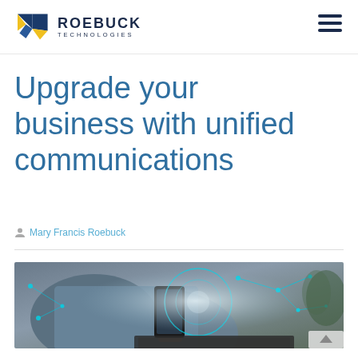[Figure (logo): Roebuck Technologies logo: stylized R with blue diamond and yellow shapes, with company name ROEBUCK TECHNOLOGIES in bold dark letters]
Upgrade your business with unified communications
Mary Francis Roebuck
[Figure (photo): Person in denim jacket using a smartphone, with a laptop keyboard visible and digital network connectivity graphics overlaid in cyan/blue tones]